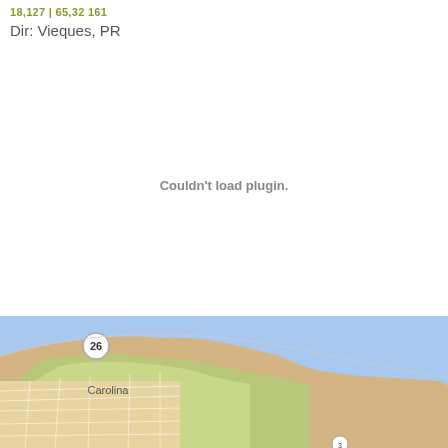18,127 | 65,32 161
Dir: Vieques, PR
[Figure (other): Plugin placeholder area with 'Couldn't load plugin.' message]
[Figure (map): Map showing Carolina, Puerto Rico area with route 26 visible, light blue water and tan/green land]